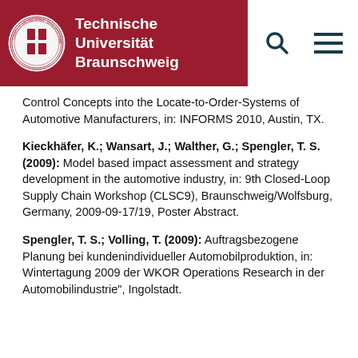Technische Universität Braunschweig
Control Concepts into the Locate-to-Order-Systems of Automotive Manufacturers, in: INFORMS 2010, Austin, TX.
Kieckhäfer, K.; Wansart, J.; Walther, G.; Spengler, T. S. (2009): Model based impact assessment and strategy development in the automotive industry, in: 9th Closed-Loop Supply Chain Workshop (CLSC9), Braunschweig/Wolfsburg, Germany, 2009-09-17/19, Poster Abstract.
Spengler, T. S.; Volling, T. (2009): Auftragsbezogene Planung bei kundenindividueller Automobilproduktion, in: Wintertagung 2009 der WKOR Operations Research in der Automobilindustrie", Ingolstadt.